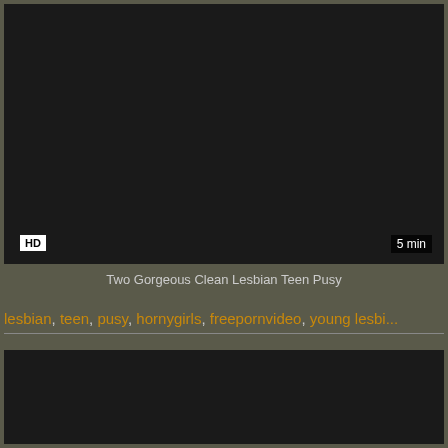[Figure (screenshot): Video thumbnail — black/dark rectangle with HD badge bottom-left and 5 min duration badge bottom-right]
Two Gorgeous Clean Lesbian Teen Pusy
lesbian, teen, pusy, hornygirls, freepornvideo, young lesbi...
[Figure (screenshot): Second video thumbnail — black/dark rectangle partially visible at bottom]